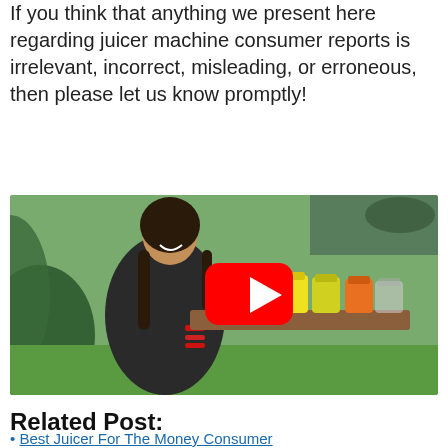If you think that anything we present here regarding juicer machine consumer reports is irrelevant, incorrect, misleading, or erroneous, then please let us know promptly!
[Figure (photo): A smiling woman with braided hair holding a wooden tray of colorful juice jars (green, yellow, orange), with a YouTube play button overlay. Outdoor garden background.]
Related Post:
Best Juicer For The Money Consumer Reports